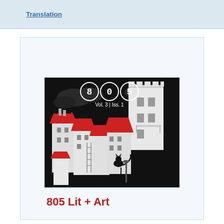Translation
[Figure (illustration): Cover of 805 Lit + Art literary magazine, Vol. 3, Iss. 1. Shows illustrated buildings with red roofs and a tall castle tower against a dark stormy sky, with a black cat silhouette on a rooftop. The title '805' appears in three circles at the top.]
805 Lit + Art